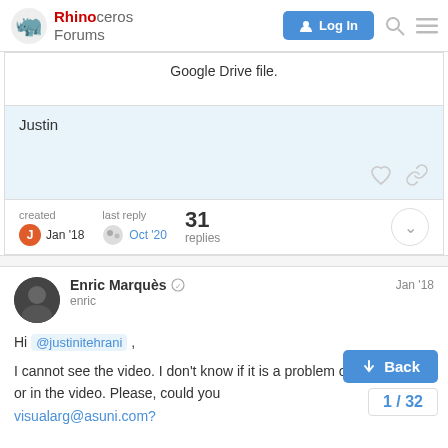Rhinoceros Forums — Log In
Google Drive file.
Justin
created Jan '18   last reply Oct '20   31 replies
Enric Marquès (enric) — Jan '18
Hi @justinitehrani ,
I cannot see the video. I don't know if it is a problem on my browser or in the video. Please, could you
visualarg@asuni.com?